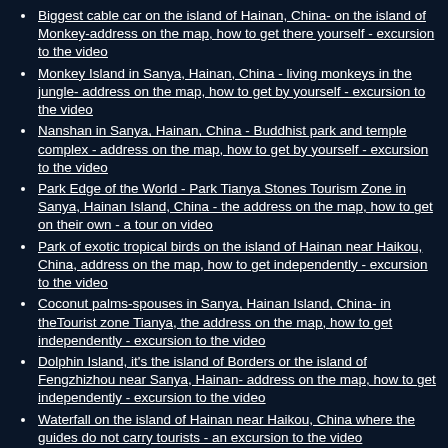Biggest cable car on the island of Hainan, China- on the island of Monkey-address on the map, how to get there yourself - excursion to the video
Monkey Island in Sanya, Hainan, China - living monkeys in the jungle- address on the map, how to get by yourself - excursion to the video
Nanshan in Sanya, Hainan, China - Buddhist park and temple complex - address on the map, how to get by yourself - excursion to the video
Park Edge of the World - Park Tianya Stones Tourism Zone in Sanya, Hainan Island, China - the address on the map, how to get on their own - a tour on video
Park of exotic tropical birds on the island of Hainan near Haikou, China, address on the map, how to get independently - excursion to the video
Coconut palms-spouses in Sanya, Hainan Island, China- in theTourist zone Tianya, the address on the map, how to get independently - excursion to the video
Dolphin Island, it's the island of Borders or the island of Fengzhizhou near Sanya, Hainan- address on the map, how to get independently - excursion to the video
Waterfall on the island of Hainan near Haikou, China where the guides do not carry tourists - an excursion to the video
Aquapark in Hainan, Sanya-water attractions and slides, swimming pools- address on the map, how to get by yourself